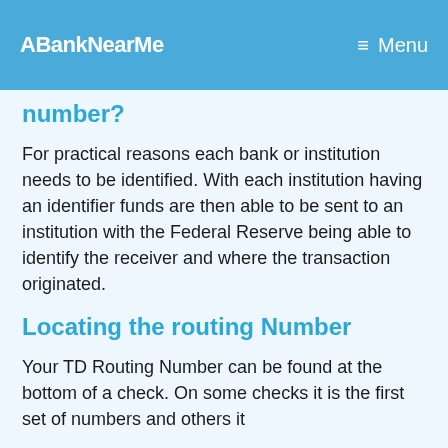ABankNearMe  Menu
number?
For practical reasons each bank or institution needs to be identified. With each institution having an identifier funds are then able to be sent to an institution with the Federal Reserve being able to identify the receiver and where the transaction originated.
Locating the routing Number
Your TD Routing Number can be found at the bottom of a check. On some checks it is the first set of numbers and others it